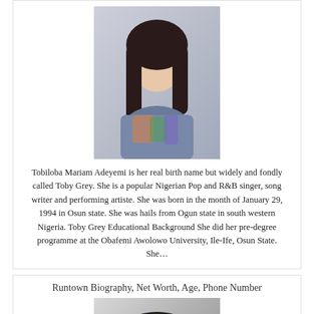[Figure (photo): Photo of Toby Grey (Tobiloba Mariam Adeyemi), a young Nigerian female singer with long dark hair, wearing a colorful top]
Tobiloba Mariam Adeyemi is her real birth name but widely and fondly called Toby Grey. She is a popular Nigerian Pop and R&B singer, song writer and performing artiste. She was born in the month of January 29, 1994 in Osun state. She was hails from Ogun state in south western Nigeria. Toby Grey Educational Background She did her pre-degree programme at the Obafemi Awolowo University, Ile-Ife, Osun State. She…
Runtown Biography, Net Worth, Age, Phone Number
[Figure (photo): Black and white photo of Runtown, a Nigerian male artist wearing a beret and white shirt, with watermark 'Nupblaze.com.ng']